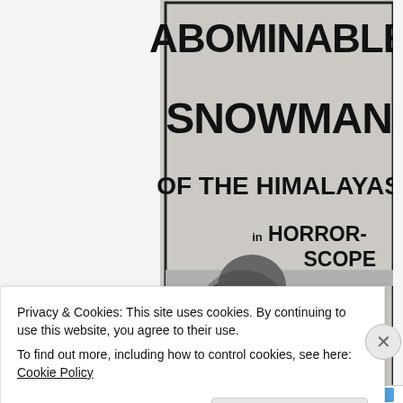[Figure (photo): Movie poster for 'Abominable Snowman of the Himalayas in Horror-Scope'. Black and white poster showing large bold text at top with a creature/monster figure in the lower half.]
Privacy & Cookies: This site uses cookies. By continuing to use this website, you agree to their use.
To find out more, including how to control cookies, see here: Cookie Policy
Close and accept